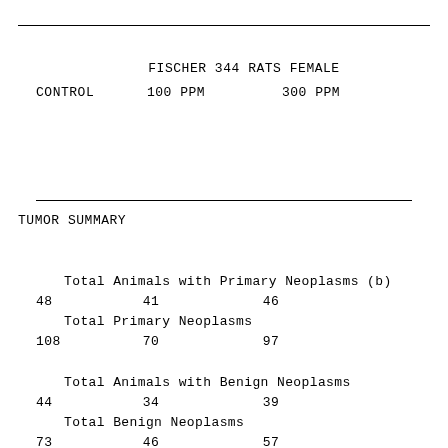|  | FISCHER 344 RATS FEMALE |  |
| --- | --- | --- |
| CONTROL | 100 PPM | 300 PPM |
| Total Animals with Primary Neoplasms (b) |  |  |
| 48 | 41 | 46 |
| Total Primary Neoplasms |  |  |
| 108 | 70 | 97 |
| Total Animals with Benign Neoplasms |  |  |
| 44 | 34 | 39 |
| Total Benign Neoplasms |  |  |
| 73 | 46 | 57 |